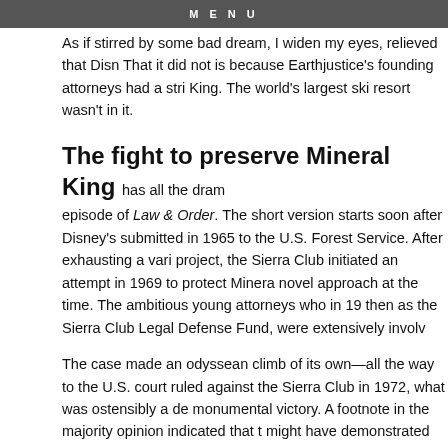MENU
As if stirred by some bad dream, I widen my eyes, relieved that Disn... That it did not is because Earthjustice's founding attorneys had a stri... King. The world's largest ski resort wasn't in it.
The fight to preserve Mineral King
has all the dram... episode of Law & Order. The short version starts soon after Disney's... submitted in 1965 to the U.S. Forest Service. After exhausting a vari... project, the Sierra Club initiated an attempt in 1969 to protect Minera... novel approach at the time. The ambitious young attorneys who in 19... then as the Sierra Club Legal Defense Fund, were extensively involv...
The case made an odyssean climb of its own—all the way to the U.S... court ruled against the Sierra Club in 1972, what was ostensibly a de... monumental victory. A footnote in the majority opinion indicated that... might have demonstrated that private citizens who use the valley wo... development.
Earthjustice fully took over the case and did exactly that. The amend... Mineral King's inclusion in 1978 as a part of Sequoia National Park... sweeter prize: the precedent that private citizens have the right to en... matters of environmental protection. This invaluable tool has time an...